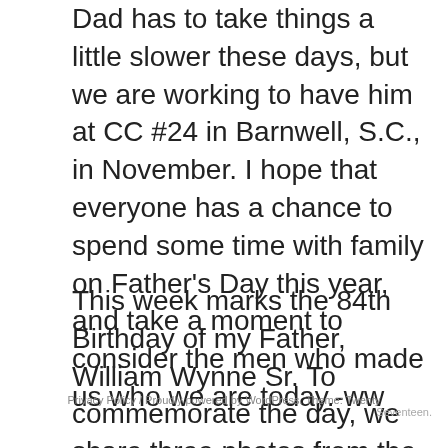Dad has to take things a little slower these days, but we are working to have him at CC #24 in Barnwell, S.C., in November. I hope that everyone has a chance to spend some time with family on Father's Day this year, and take a moment to consider the men who made us who we are today.-ww
This week marks the 84th Birthday of my Father, William Wynne Sr. To commemorate the day, we share three photos from the family archives. Above, on the left, my Father stands in the rubble of the AT&T building in downtown Seoul, Korea, in 1952. At the time, my Father was a company commander with ACB-ONE, a U.S. Navy Seabee battalion which
Privacy Policy / Proudly powered by WordPress. Theme: Twenty Seventeen.